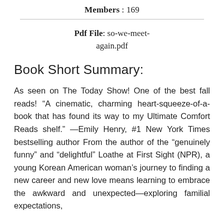Members : 169
Pdf File: so-we-meet-again.pdf
Book Short Summary:
As seen on The Today Show! One of the best fall reads! “A cinematic, charming heart-squeeze-of-a-book that has found its way to my Ultimate Comfort Reads shelf.” —Emily Henry, #1 New York Times bestselling author From the author of the “genuinely funny” and “delightful” Loathe at First Sight (NPR), a young Korean American woman’s journey to finding a new career and new love means learning to embrace the awkward and unexpected—exploring familial expectations,